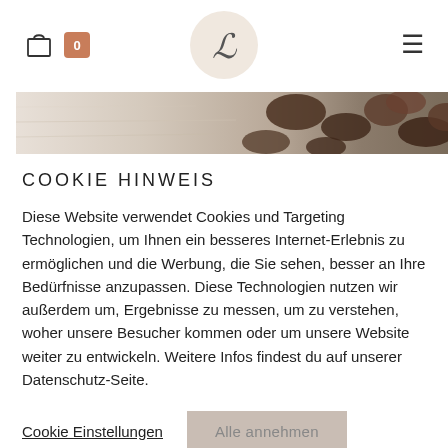[Figure (screenshot): Website navigation bar with shopping bag icon, orange badge showing 0, circular logo with cursive L letter on beige background, and hamburger menu icon]
[Figure (photo): Partial view of chocolate cookies on a light wooden surface, cropped banner image]
COOKIE HINWEIS
Diese Website verwendet Cookies und Targeting Technologien, um Ihnen ein besseres Internet-Erlebnis zu ermöglichen und die Werbung, die Sie sehen, besser an Ihre Bedürfnisse anzupassen. Diese Technologien nutzen wir außerdem um, Ergebnisse zu messen, um zu verstehen, woher unsere Besucher kommen oder um unsere Website weiter zu entwickeln. Weitere Infos findest du auf unserer Datenschutz-Seite.
Cookie Einstellungen
Alle annehmen